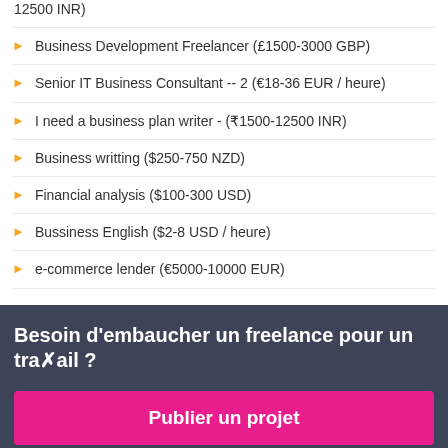12500 INR)
Business Development Freelancer (£1500-3000 GBP)
Senior IT Business Consultant -- 2 (€18-36 EUR / heure)
I need a business plan writer - (₹1500-12500 INR)
Business writting ($250-750 NZD)
Financial analysis ($100-300 USD)
Bussiness English ($2-8 USD / heure)
e-commerce lender (€5000-10000 EUR)
Besoin d'embaucher un freelance pour un travail ?
Publier un projet